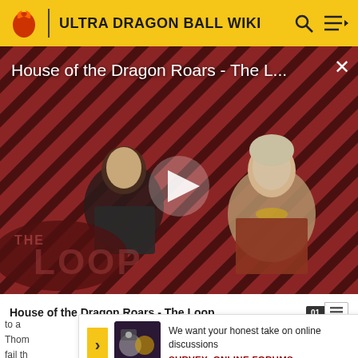ULTRA DRAGON BALL WIKI
[Figure (screenshot): Video thumbnail for House of the Dragon Roars - The Loop, showing two characters from House of the Dragon on a diagonal striped red and dark background, with a play button overlay and THE LOOP logo]
House of the Dragon Roars - The L...
House of the Dragon Roars - The Loop
to a
Thom
fail th
[Figure (screenshot): Survey advertisement image with dark background and circular graphic elements]
We want your honest take on online discussions
SURVEY: ONLINE FORUMS
y
Mr